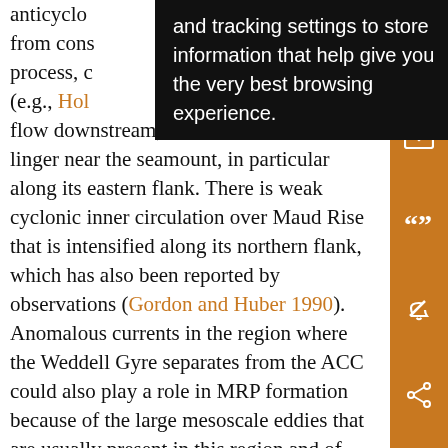anticyclonic ... and tracking settings to store information that help give you the very best browsing experience. ... from cons... process, c... ated (e.g., Hol... es flow downstream, while most of them linger near the seamount, in particular along its eastern flank. There is weak cyclonic inner circulation over Maud Rise that is intensified along its northern flank, which has also been reported by observations (Gordon and Huber 1990). Anomalous currents in the region where the Weddell Gyre separates from the ACC could also play a role in MRP formation because of the large mesoscale eddies that are usually present in this region and of the possible impact that these eddies may have on horizontal heat and salt transport toward Maud Rise (Orsi et al. 1995). A preliminary inspection of the sea surface height anomaly